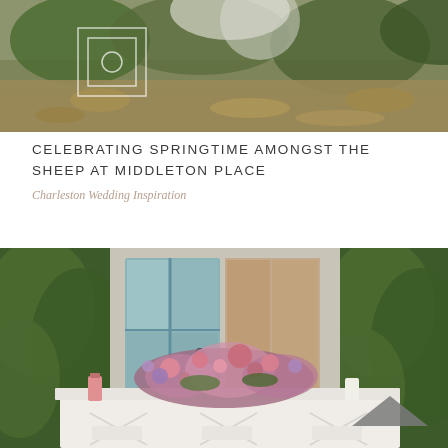[Figure (photo): Outdoor wedding scene with bride visible against stone wall covered in ivy, with fallen leaves on ground. Small logo/watermark visible in upper left corner.]
CELEBRATING SPRINGTIME AMONGST THE SHEEP AT MIDDLETON PLACE
Charleston Wedding Inspiration
[Figure (photo): Elegant outdoor wedding reception table set with white tablecloth and chairs adorned with cross-back design, lush floral centerpieces of pink, purple, and white flowers. Blue French doors and ivy-covered stone wall in the background. A dark triangular arrow/logo is visible in the lower right.]